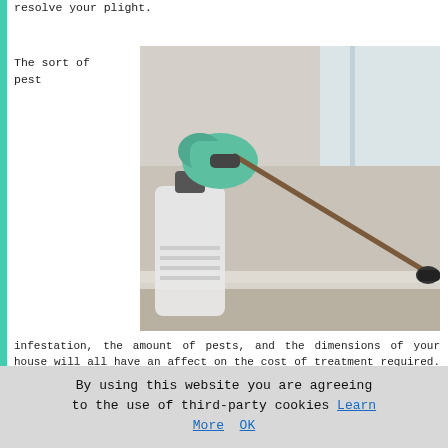resolve your plight.
The sort of pest
[Figure (photo): Person wearing green gloves using a pest control sprayer with a wand near a window baseboard. A white spray canister is visible on the left side.]
infestation, the amount of pests, and the dimensions of your house will all have an affect on the cost of treatment required. The type of pest control treatment you decide upon and how many times it's got to be employed will also be factored into the pricing structure. During the on-the-spot survey, if it seems that the infestation problem isn't confined to a single part of the property, then the dimensions of the area to be treated will be included in the price.
By using this website you are agreeing to the use of third-party cookies Learn More  OK